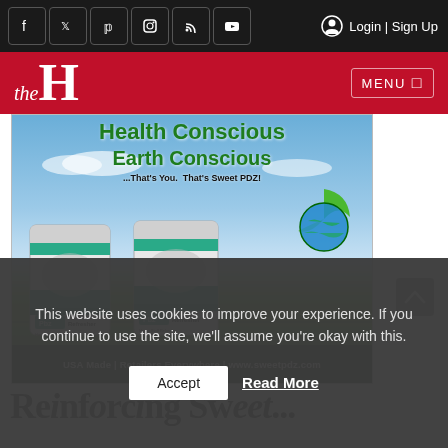f | Twitter | Pinterest | Instagram | RSS | YouTube | Login | Sign Up
[Figure (logo): theH logo on red band with MENU button]
[Figure (illustration): Sweet PDZ advertisement: Health Conscious Earth Conscious ...That's You. That's Sweet PDZ! Two PDZ Refresher bags on green field with earth logo. USA Made | Retailers Everywhere | www.sweetpdz.com]
This website uses cookies to improve your experience. If you continue to use the site, we'll assume you're okay with this.
Accept
Read More